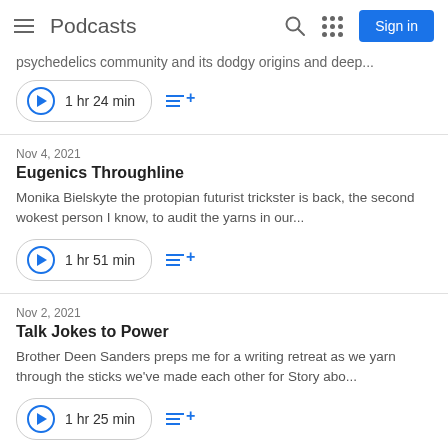Podcasts | Sign in
psychedelics community and its dodgy origins and deep...
1 hr 24 min
Nov 4, 2021
Eugenics Throughline
Monika Bielskyte the protopian futurist trickster is back, the second wokest person I know, to audit the yarns in our...
1 hr 51 min
Nov 2, 2021
Talk Jokes to Power
Brother Deen Sanders preps me for a writing retreat as we yarn through the sticks we've made each other for Story abo...
1 hr 25 min